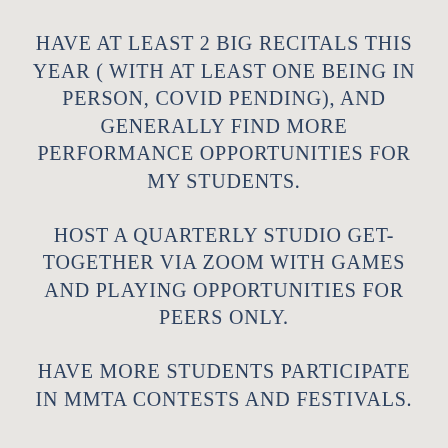HAVE AT LEAST 2 BIG RECITALS THIS YEAR ( WITH AT LEAST ONE BEING IN PERSON, COVID PENDING), AND GENERALLY FIND MORE PERFORMANCE OPPORTUNITIES FOR MY STUDENTS.
HOST A QUARTERLY STUDIO GET-TOGETHER VIA ZOOM WITH GAMES AND PLAYING OPPORTUNITIES FOR PEERS ONLY.
HAVE MORE STUDENTS PARTICIPATE IN MMTA CONTESTS AND FESTIVALS.